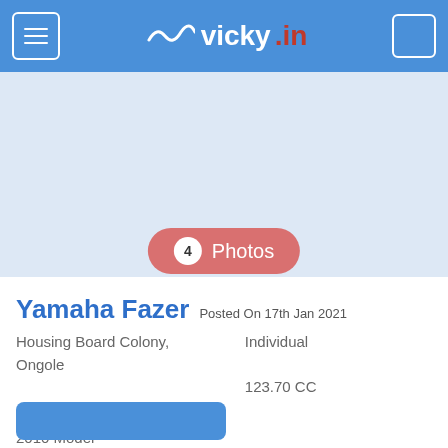vicky.in
[Figure (photo): Photo placeholder area for Yamaha Fazer motorcycle listing, light blue-gray background]
4 Photos
Yamaha Fazer
Posted On 17th Jan 2021
Housing Board Colony, Ongole
Individual
123.70 CC
38000 Kms
2010 Model
₹ 75,000